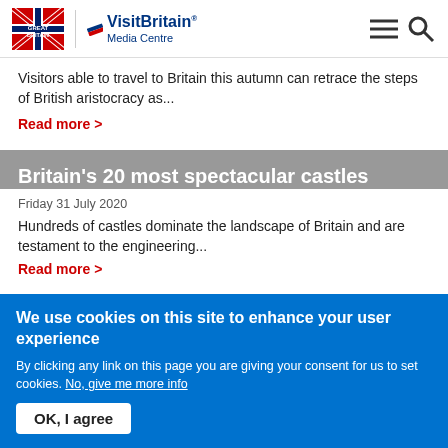Great Britain | VisitBritain Media Centre
Visitors able to travel to Britain this autumn can retrace the steps of British aristocracy as...
Read more >
Britain's 20 most spectacular castles
Friday 31 July 2020
Hundreds of castles dominate the landscape of Britain and are testament to the engineering...
Read more >
We use cookies on this site to enhance your user experience
By clicking any link on this page you are giving your consent for us to set cookies. No, give me more info
OK, I agree